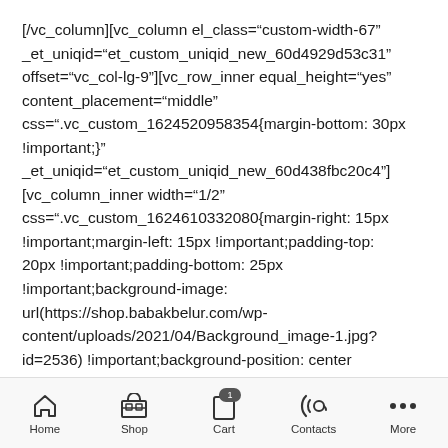[/vc_column][vc_column el_class="custom-width-67" _et_uniqid="et_custom_uniqid_new_60d4929d53c31" offset="vc_col-lg-9"][vc_row_inner equal_height="yes" content_placement="middle" css=".vc_custom_1624520958354{margin-bottom: 30px !important;}" _et_uniqid="et_custom_uniqid_new_60d438fbc20c4"][vc_column_inner width="1/2" css=".vc_custom_1624610332080{margin-right: 15px !important;margin-left: 15px !important;padding-top: 20px !important;padding-bottom: 25px !important;background-image: url(https://shop.babakbelur.com/wp-content/uploads/2021/04/Background_image-1.jpg?id=2536) !important;background-position: center
Home | Shop | Cart | Contacts | More